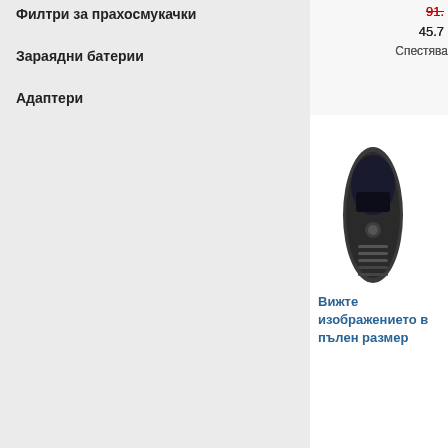Филтри за прахосмукачки
Зараядни батерии
Адаптери
91.… (old price, red strikethrough)
45.7… (new price)
Спестява…
[Figure (photo): TV remote control, dark oval shape with buttons]
Вижте изображението в пълен размер